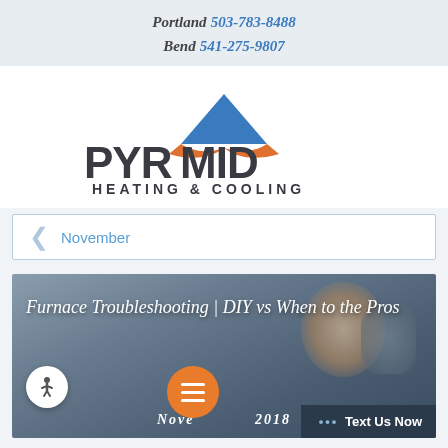Portland 503-783-8488
Bend 541-275-9807
[Figure (logo): Pyramid Heating & Cooling logo — stylized pyramid shape with blue triangle top and orange swoosh wings, dark gray bold text 'PYRAMID' and 'HEATING & COOLING']
< November
[Figure (photo): Article featured image with blurred background showing a person in warm clothing. Overlay text reads 'Furnace Troubleshooting | DIY vs When to Call the Pros' with date 'November 2018' at the bottom. Accessibility button (white circle with person icon) at lower left, orange menu button in center bottom, and dark 'Text Us Now' bar at lower right.]